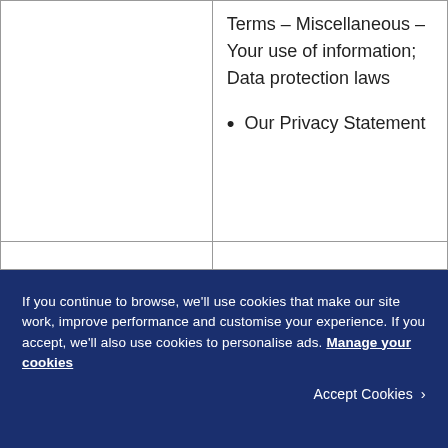|  | Terms – Miscellaneous – Your use of information; Data protection laws
• Our Privacy Statement |
|  |  |
If you continue to browse, we'll use cookies that make our site work, improve performance and customise your experience. If you accept, we'll also use cookies to personalise ads. Manage your cookies
Accept Cookies ›